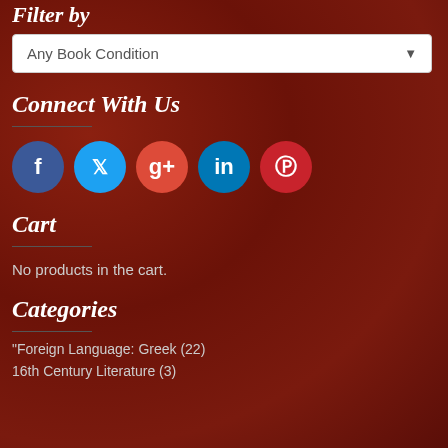Filter by
[Figure (screenshot): Dropdown selector showing 'Any Book Condition']
Connect With Us
[Figure (infographic): Social media icons: Facebook (blue), Twitter (light blue), Google+ (orange-red), LinkedIn (teal), Pinterest (red)]
Cart
No products in the cart.
Categories
"Foreign Language: Greek (22)
16th Century Literature (3)